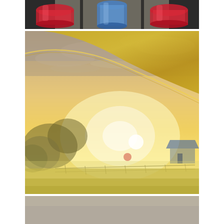[Figure (photo): Top photo strip showing colorful drinking glasses - red glasses on left and right, blue glass in center, on a windowsill or table]
[Figure (photo): Large landscape photo taken from inside a car (gold/tan car roof visible in upper portion), showing a rural sunset scene with golden sky, scattered clouds, trees silhouetted on the left, a fence line in the middle ground, and a farm building with blue roof on the right]
[Figure (photo): Bottom partial photo strip showing a grey/neutral scene, partially cut off]